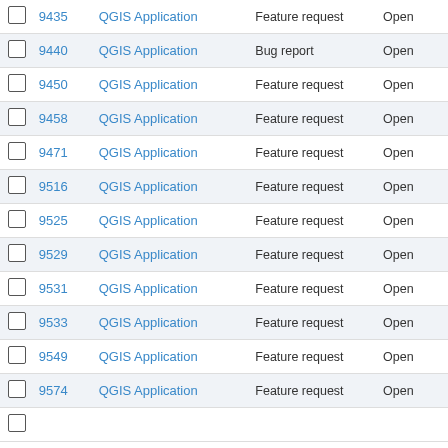|  | # | Project | Type | Status |
| --- | --- | --- | --- | --- |
|  | 9435 | QGIS Application | Feature request | Open |
|  | 9440 | QGIS Application | Bug report | Open |
|  | 9450 | QGIS Application | Feature request | Open |
|  | 9458 | QGIS Application | Feature request | Open |
|  | 9471 | QGIS Application | Feature request | Open |
|  | 9516 | QGIS Application | Feature request | Open |
|  | 9525 | QGIS Application | Feature request | Open |
|  | 9529 | QGIS Application | Feature request | Open |
|  | 9531 | QGIS Application | Feature request | Open |
|  | 9533 | QGIS Application | Feature request | Open |
|  | 9549 | QGIS Application | Feature request | Open |
|  | 9574 | QGIS Application | Feature request | Open |